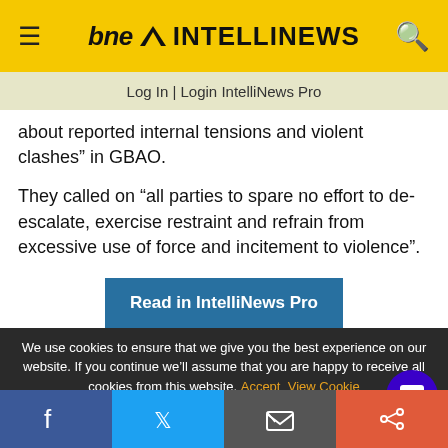bne INTELLINEWS
Log In | Login IntelliNews Pro
about reported internal tensions and violent clashes” in GBAO.
They called on “all parties to spare no effort to de-escalate, exercise restraint and refrain from excessive use of force and incitement to violence”.
Read in IntelliNews Pro
We use cookies to ensure that we give you the best experience on our website. If you continue we’ll assume that you are happy to receive all cookies from this website. Accept  View Cookie